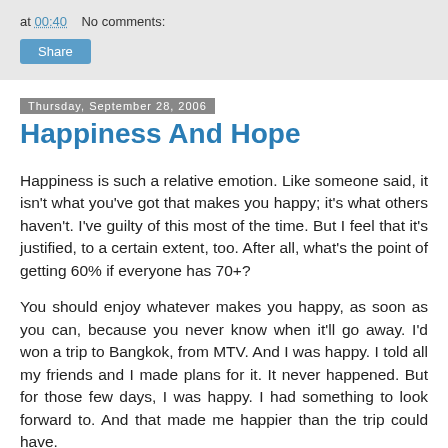at 00:40   No comments:
Share
Thursday, September 28, 2006
Happiness And Hope
Happiness is such a relative emotion. Like someone said, it isn't what you've got that makes you happy; it's what others haven't. I've guilty of this most of the time. But I feel that it's justified, to a certain extent, too. After all, what's the point of getting 60% if everyone has 70+?
You should enjoy whatever makes you happy, as soon as you can, because you never know when it'll go away. I'd won a trip to Bangkok, from MTV. And I was happy. I told all my friends and I made plans for it. It never happened. But for those few days, I was happy. I had something to look forward to. And that made me happier than the trip could have.
It is important to be happy and I'd rather be on the other side...